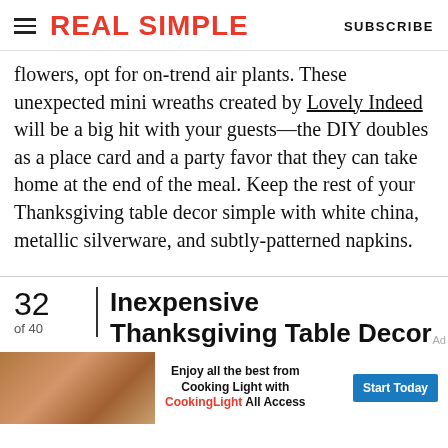REAL SIMPLE | SUBSCRIBE
flowers, opt for on-trend air plants. These unexpected mini wreaths created by Lovely Indeed will be a big hit with your guests—the DIY doubles as a place card and a party favor that they can take home at the end of the meal. Keep the rest of your Thanksgiving table decor simple with white china, metallic silverware, and subtly-patterned napkins.
32 of 40
Inexpensive Thanksgiving Table Decor
[Figure (infographic): Advertisement banner: Food image on the left, text 'Enjoy all the best from Cooking Light with CookingLight All Access' in center, blue 'Start Today' button on right.]